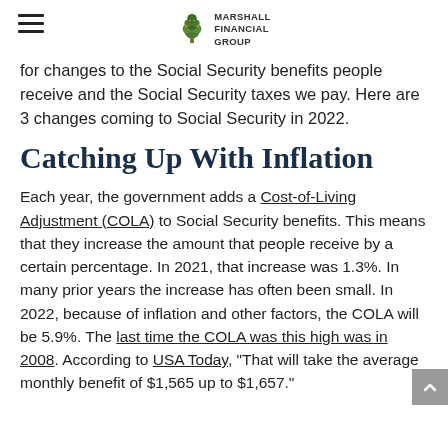Marshall Financial Group
for changes to the Social Security benefits people receive and the Social Security taxes we pay. Here are 3 changes coming to Social Security in 2022.
Catching Up With Inflation
Each year, the government adds a Cost-of-Living Adjustment (COLA) to Social Security benefits. This means that they increase the amount that people receive by a certain percentage. In 2021, that increase was 1.3%. In many prior years the increase has often been small. In 2022, because of inflation and other factors, the COLA will be 5.9%. The last time the COLA was this high was in 2008. According to USA Today, "That will take the average monthly benefit of $1,565 up to $1,657."